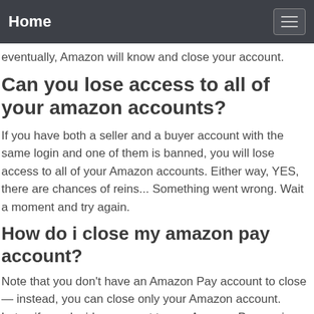Home
eventually, Amazon will know and close your account.
Can you lose access to all of your amazon accounts?
If you have both a seller and a buyer account with the same login and one of them is banned, you will lose access to all of your Amazon accounts. Either way, YES, there are chances of reins... Something went wrong. Wait a moment and try again.
How do i close my amazon pay account?
Note that you don't have an Amazon Pay account to close — instead, you can close only your Amazon account. Later, if you decide you want to use Amazon Pay again, just shop on a third-party website that accepts Amazon Pay, open a new Amazon.com account, and accept our Customer Agreement